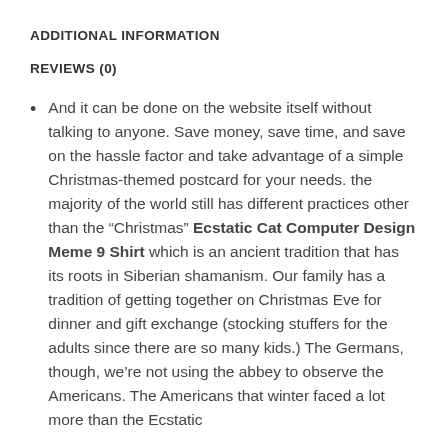ADDITIONAL INFORMATION
REVIEWS (0)
And it can be done on the website itself without talking to anyone. Save money, save time, and save on the hassle factor and take advantage of a simple Christmas-themed postcard for your needs. the majority of the world still has different practices other than the “Christmas” Ecstatic Cat Computer Design Meme 9 Shirt which is an ancient tradition that has its roots in Siberian shamanism. Our family has a tradition of getting together on Christmas Eve for dinner and gift exchange (stocking stuffers for the adults since there are so many kids.) The Germans, though, we’re not using the abbey to observe the Americans. The Americans that winter faced a lot more than the Ecstatic